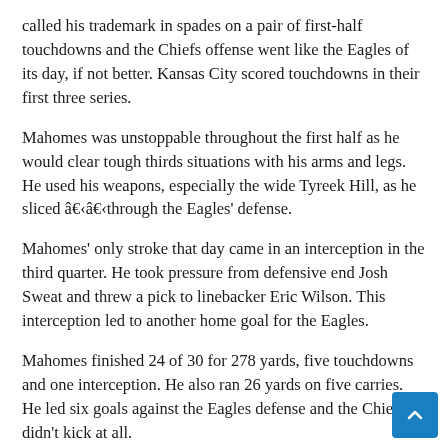called his trademark in spades on a pair of first-half touchdowns and the Chiefs offense went like the Eagles of its day, if not better. Kansas City scored touchdowns in their first three series.
Mahomes was unstoppable throughout the first half as he would clear tough thirds situations with his arms and legs. He used his weapons, especially the wide Tyreek Hill, as he sliced â€‹â€‹through the Eagles' defense.
Mahomes' only stroke that day came in an interception in the third quarter. He took pressure from defensive end Josh Sweat and threw a pick to linebacker Eric Wilson. This interception led to another home goal for the Eagles.
Mahomes finished 24 of 30 for 278 yards, five touchdowns and one interception. He also ran 26 yards on five carries. He led six goals against the Eagles defense and the Chiefs didn't kick at all.